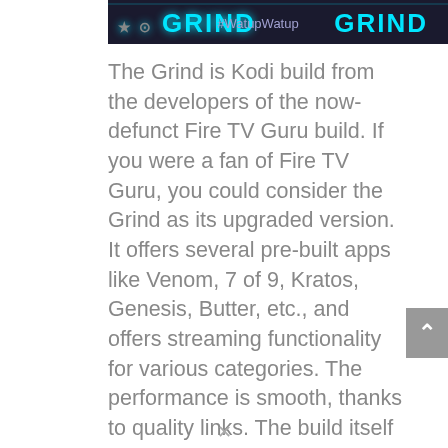[Figure (screenshot): Banner image showing 'The Grind' Kodi build logo with teal/cyan stylized text on dark background, with #WatupWatup hashtag in the middle]
The Grind is Kodi build from the developers of the now-defunct Fire TV Guru build. If you were a fan of Fire TV Guru, you could consider the Grind as its upgraded version. It offers several pre-built apps like Venom, 7 of 9, Kratos, Genesis, Butter, etc., and offers streaming functionality for various categories. The performance is smooth, thanks to quality links. The build itself is also